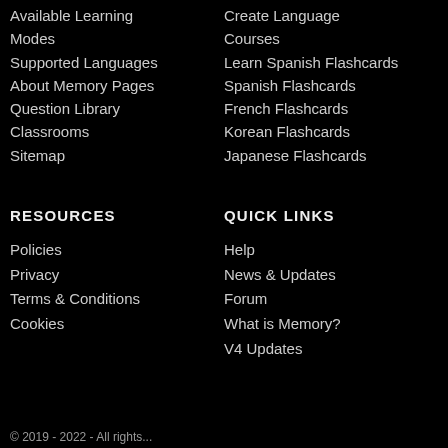Available Learning Modes
Create Language Courses
Supported Languages
Learn Spanish Flashcards
About Memory Pages
Spanish Flashcards
Question Library
French Flashcards
Classrooms
Korean Flashcards
Sitemap
Japanese Flashcards
RESOURCES
QUICK LINKS
Policies
Help
Privacy
News & Updates
Terms & Conditions
Forum
Cookies
What is Memory?
V4 Updates
© 2019 - 2022 - All rights...